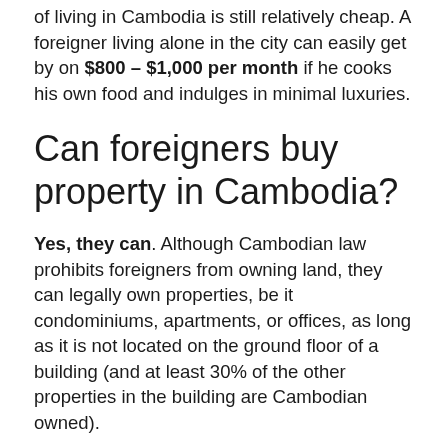of living in Cambodia is still relatively cheap. A foreigner living alone in the city can easily get by on $800 – $1,000 per month if he cooks his own food and indulges in minimal luxuries.
Can foreigners buy property in Cambodia?
Yes, they can. Although Cambodian law prohibits foreigners from owning land, they can legally own properties, be it condominiums, apartments, or offices, as long as it is not located on the ground floor of a building (and at least 30% of the other properties in the building are Cambodian owned).